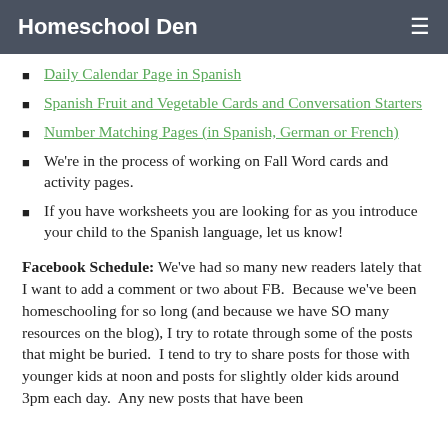Homeschool Den
Daily Calendar Page in Spanish
Spanish Fruit and Vegetable Cards and Conversation Starters
Number Matching Pages (in Spanish, German or French)
We're in the process of working on Fall Word cards and activity pages.
If you have worksheets you are looking for as you introduce your child to the Spanish language, let us know!
Facebook Schedule: We've had so many new readers lately that I want to add a comment or two about FB. Because we've been homeschooling for so long (and because we have SO many resources on the blog), I try to rotate through some of the posts that might be buried. I tend to try to share posts for those with younger kids at noon and posts for slightly older kids around 3pm each day. Any new posts that have been